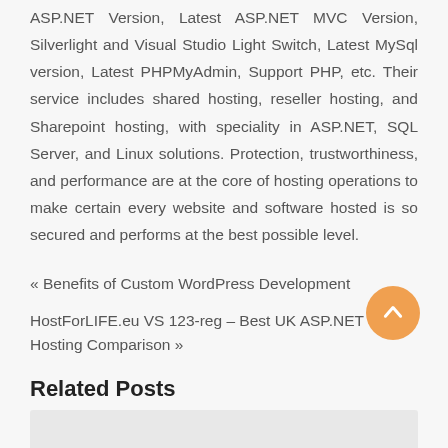ASP.NET Version, Latest ASP.NET MVC Version, Silverlight and Visual Studio Light Switch, Latest MySql version, Latest PHPMyAdmin, Support PHP, etc. Their service includes shared hosting, reseller hosting, and Sharepoint hosting, with speciality in ASP.NET, SQL Server, and Linux solutions. Protection, trustworthiness, and performance are at the core of hosting operations to make certain every website and software hosted is so secured and performs at the best possible level.
« Benefits of Custom WordPress Development
HostForLIFE.eu VS 123-reg – Best UK ASP.NET Hosting Comparison »
Related Posts